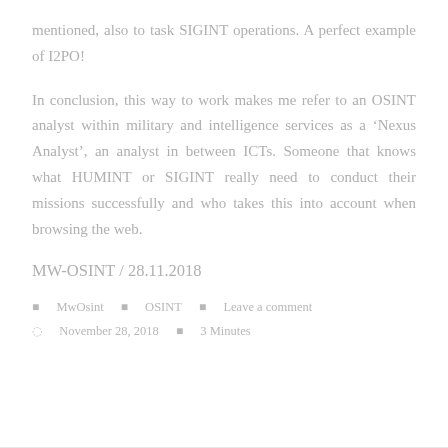mentioned, also to task SIGINT operations. A perfect example of I2PO!
In conclusion, this way to work makes me refer to an OSINT analyst within military and intelligence services as a ‘Nexus Analyst’, an analyst in between ICTs. Someone that knows what HUMINT or SIGINT really need to conduct their missions successfully and who takes this into account when browsing the web.
MW-OSINT / 28.11.2018
MwOsint  OSINT  Leave a comment  November 28, 2018  3 Minutes